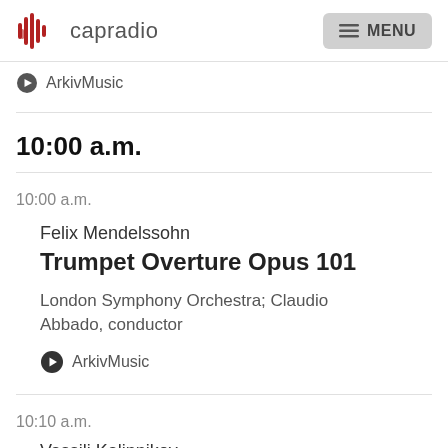capradio | MENU
ArkivMusic
10:00 a.m.
10:00 a.m.
Felix Mendelssohn
Trumpet Overture Opus 101
London Symphony Orchestra; Claudio Abbado, conductor
ArkivMusic
10:10 a.m.
Vassili Kalinnikov